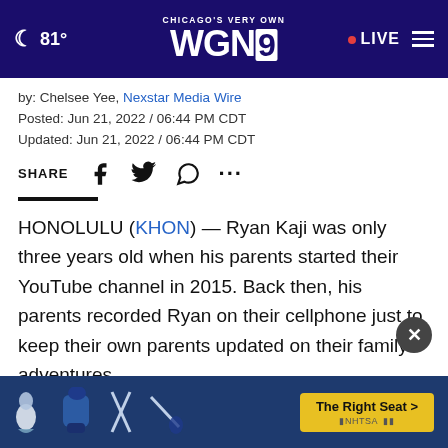CHICAGO'S VERY OWN WGN9 | 81° | LIVE
by: Chelsee Yee, Nexstar Media Wire
Posted: Jun 21, 2022 / 06:44 PM CDT
Updated: Jun 21, 2022 / 06:44 PM CDT
SHARE
HONOLULU (KHON) — Ryan Kaji was only three years old when his parents started their YouTube channel in 2015. Back then, his parents recorded Ryan on their cellphone just to keep their own parents updated on their family adventures.
Fast f...
[Figure (screenshot): Advertisement banner for car seat safety featuring 'The Right Seat >' CTA and NHTSA logo, with child seat icons on blue background]